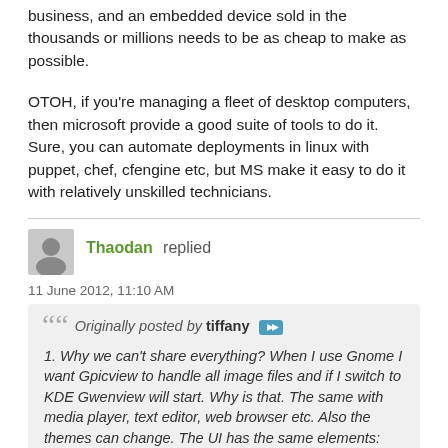business, and an embedded device sold in the thousands or millions needs to be as cheap to make as possible.
OTOH, if you're managing a fleet of desktop computers, then microsoft provide a good suite of tools to do it. Sure, you can automate deployments in linux with puppet, chef, cfengine etc, but MS make it easy to do it with relatively unskilled technicians.
Thaodan replied
11 June 2012, 11:10 AM
Originally posted by tiffany
1. Why we can't share everything? When I use Gnome I want Gpicview to handle all image files and if I switch to KDE Gwenview will start. Why is that. The same with media player, text editor, web browser etc. Also the themes can change. The UI has the same elements: scrollbars, windows, buttons etc. A converter should handle all these.

2. Why all this complex stuff? Only one audio thing